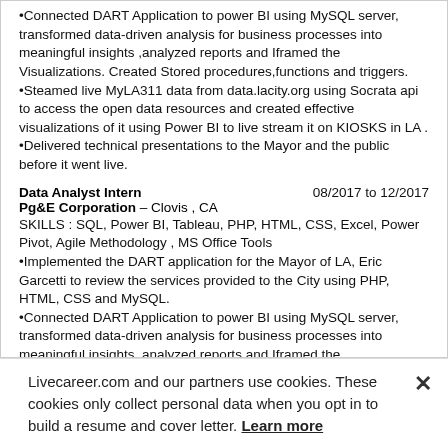•Connected DART Application to power BI using MySQL server, transformed data-driven analysis for business processes into meaningful insights ,analyzed reports and Iframed the Visualizations. Created Stored procedures,functions and triggers.
•Steamed live MyLA311 data from data.lacity.org using Socrata api to access the open data resources and created effective visualizations of it using Power BI to live stream it on KIOSKS in LA .
•Delivered technical presentations to the Mayor and the public before it went live.
Data Analyst Intern   08/2017 to 12/2017
Pg&E Corporation – Clovis , CA
SKILLS : SQL, Power BI, Tableau, PHP, HTML, CSS, Excel, Power Pivot, Agile Methodology , MS Office Tools
•Implemented the DART application for the Mayor of LA, Eric Garcetti to review the services provided to the City using PHP, HTML, CSS and MySQL.
•Connected DART Application to power BI using MySQL server, transformed data-driven analysis for business processes into meaningful insights ,analyzed reports and Iframed the Visualizations. Created Stored procedures,functions and triggers.
•Steamed live MyLA311 data from data.lacity.org using Socrata
Livecareer.com and our partners use cookies. These cookies only collect personal data when you opt in to build a resume and cover letter. Learn more